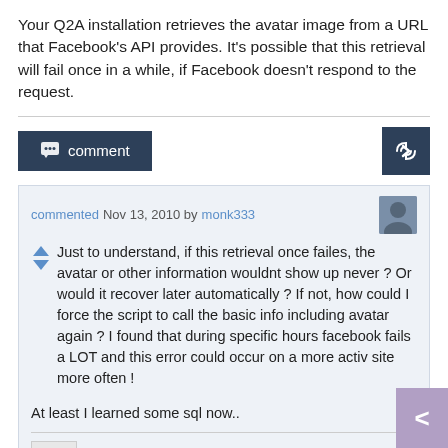Your Q2A installation retrieves the avatar image from a URL that Facebook's API provides. It's possible that this retrieval will fail once in a while, if Facebook doesn't respond to the request.
commented Nov 13, 2010 by monk333
Just to understand, if this retrieval once failes, the avatar or other information wouldnt show up never ? Or would it recover later automatically ? If not, how could I force the script to call the basic info including avatar again ? I found that during specific hours facebook fails a LOT and this error could occur on a more activ site more often !
At least I learned some sql now..